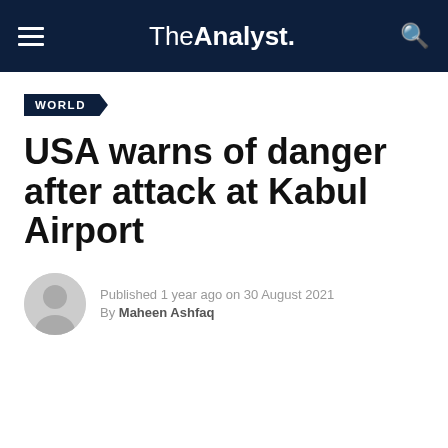The Analyst.
WORLD
USA warns of danger after attack at Kabul Airport
Published 1 year ago on 30 August 2021
By Maheen Ashfaq